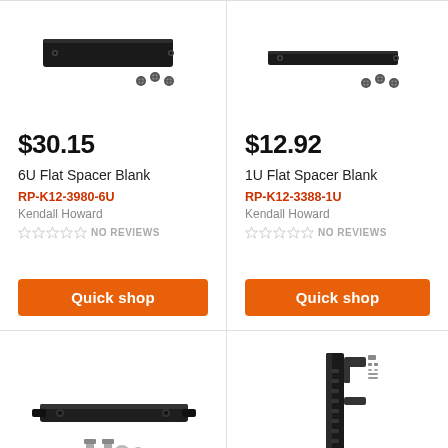[Figure (photo): 6U Flat Spacer Blank product image showing a flat black panel with screws]
$30.15
6U Flat Spacer Blank
RP-K12-3980-6U
Kendall Howard
NO REVIEWS
Quick shop
[Figure (photo): 1U Flat Spacer Blank product image showing a smaller flat black panel with screws]
$12.92
1U Flat Spacer Blank
RP-K12-3388-1U
Kendall Howard
NO REVIEWS
Quick shop
[Figure (photo): Black rack handle/bar accessory with mounting hardware screws and bolts]
[Figure (photo): Black vertical rack post/rail with mounting brackets and hardware]